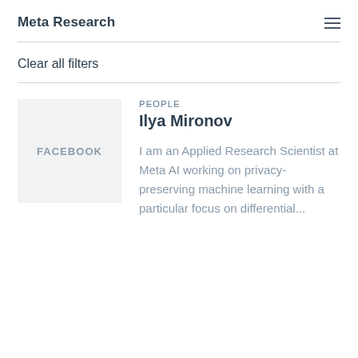Meta Research
Clear all filters
PEOPLE
Ilya Mironov
[Figure (logo): Facebook logo placeholder box with text FACEBOOK]
I am an Applied Research Scientist at Meta AI working on privacy-preserving machine learning with a particular focus on differential...